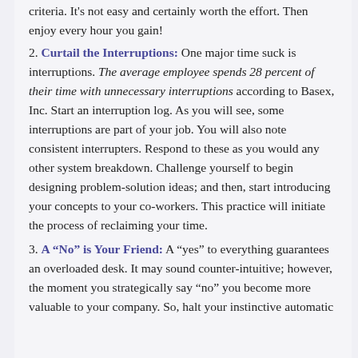criteria. It's not easy and certainly worth the effort. Then enjoy every hour you gain!
2. Curtail the Interruptions: One major time suck is interruptions. The average employee spends 28 percent of their time with unnecessary interruptions according to Basex, Inc. Start an interruption log. As you will see, some interruptions are part of your job. You will also note consistent interrupters. Respond to these as you would any other system breakdown. Challenge yourself to begin designing problem-solution ideas; and then, start introducing your concepts to your co-workers. This practice will initiate the process of reclaiming your time.
3. A “No” is Your Friend: A “yes” to everything guarantees an overloaded desk. It may sound counter-intuitive; however, the moment you strategically say “no” you become more valuable to your company. So, halt your instinctive automatic